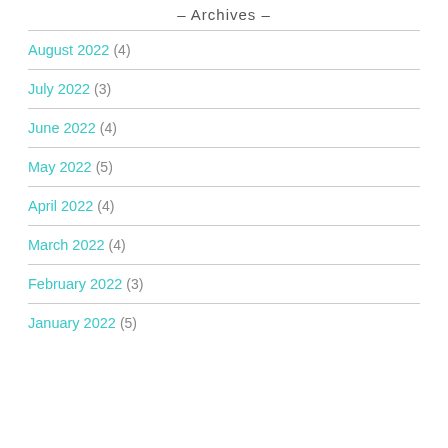– Archives –
August 2022 (4)
July 2022 (3)
June 2022 (4)
May 2022 (5)
April 2022 (4)
March 2022 (4)
February 2022 (3)
January 2022 (5)